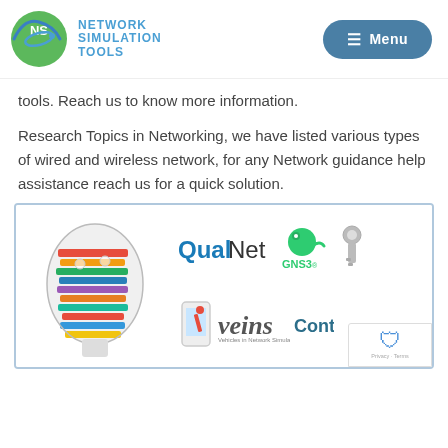[Figure (logo): Network Simulation Tools logo with NS initials in green circle with orbit ring, and teal text NETWORK SIMULATION TOOLS]
[Figure (screenshot): Navigation menu button with hamburger icon and Menu text on dark teal rounded button]
tools. Reach us to know more information.
Research Topics in Networking, we have listed various types of wired and wireless network, for any Network guidance help assistance reach us for a quick solution.
[Figure (infographic): Composite image showing a colorful book/brain illustration on left, and network simulation tool logos including QualNet, GNS3, Veins, Contiki on right side. A reCAPTCHA badge visible in corner with Privacy and Terms links.]